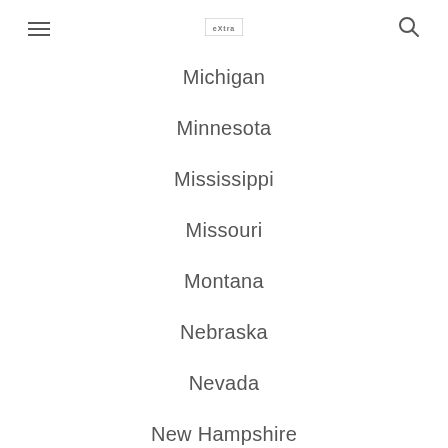≡ [logo] 🔍
Michigan
Minnesota
Mississippi
Missouri
Montana
Nebraska
Nevada
New Hampshire
New Jersey
New Mexico